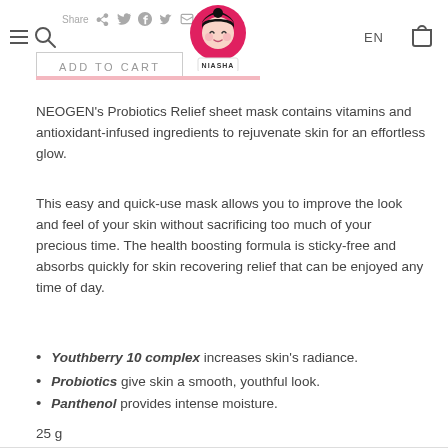Share | EN | NIASHA | ADD TO CART navigation bar
NEOGEN's Probiotics Relief sheet mask contains vitamins and antioxidant-infused ingredients to rejuvenate skin for an effortless glow.
This easy and quick-use mask allows you to improve the look and feel of your skin without sacrificing too much of your precious time. The health boosting formula is sticky-free and absorbs quickly for skin recovering relief that can be enjoyed any time of day.
Youthberry 10 complex increases skin's radiance.
Probiotics give skin a smooth, youthful look.
Panthenol provides intense moisture.
25 g